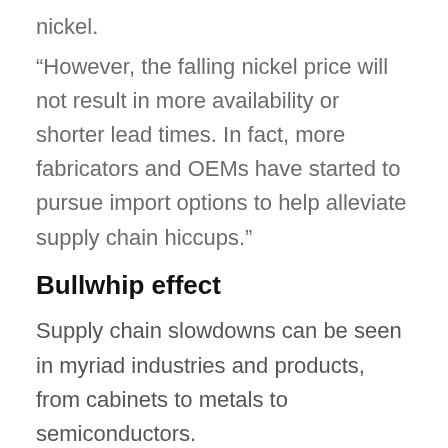nickel.
“However, the falling nickel price will not result in more availability or shorter lead times. In fact, more fabricators and OEMs have started to pursue import options to help alleviate supply chain hiccups.”
Bullwhip effect
Supply chain slowdowns can be seen in myriad industries and products, from cabinets to metals to semiconductors.
The bullwhip effect — that is, when sharp upticks in demand lead to volatility across the